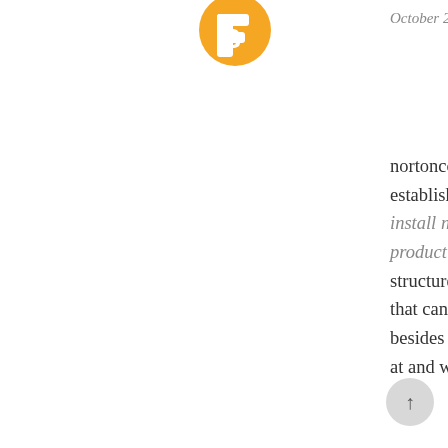[Figure (illustration): Orange circular avatar/logo icon with a stylized 'B' shape in the center, partially cropped at the top of the page]
October 22, 2019 at 3:22 AM
nortoncom-norton.com download, establishment and enactment. install norton security setup with product keyThe web slanted world structures the need of an antivirus that can verify your data and besides ensure safe taking a gander at and what's more